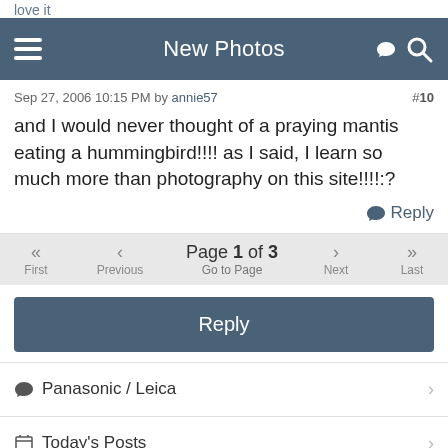New Photos
love it
Sep 27, 2006 10:15 PM by annie57   #10
and I would never thought of a praying mantis eating a hummingbird!!!! as I said, I learn so much more than photography on this site!!!!:?
Reply
Page 1 of 3   Go to Page   First  Previous  Next  Last
Reply
Panasonic / Leica
Today's Posts